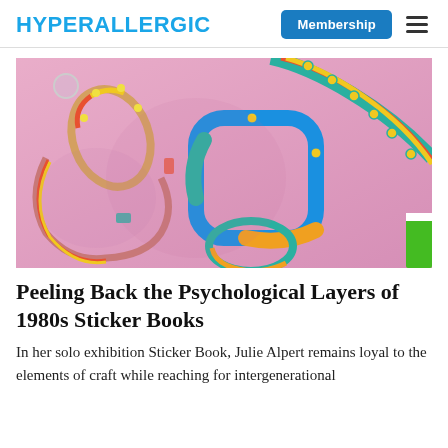HYPERALLERGIC  Membership ☰
[Figure (photo): Colorful looping sticker-like sculptural forms mounted on a pink wall, featuring bright teal, orange, yellow, green, red, and patterned strips arranged in rounded rectangular loop shapes.]
Peeling Back the Psychological Layers of 1980s Sticker Books
In her solo exhibition Sticker Book, Julie Alpert remains loyal to the elements of craft while reaching for intergenerational